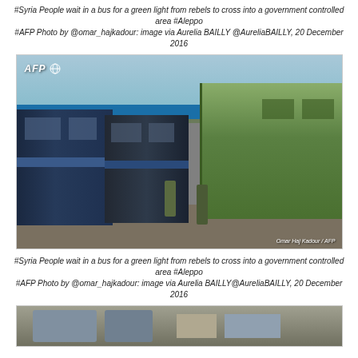#Syria People wait in a bus for a green light from rebels to cross into a government controlled area #Aleppo
#AFP Photo by @omar_hajkadour: image via Aurelia BAILLY @AureliaBAILLY, 20 December 2016
[Figure (photo): AFP photo showing buses (dark blue and green) lined up on a road in Aleppo, Syria, with armed figures walking between the vehicles. A blue sign with Arabic text is visible in the background. Watermark reads 'AFP' with globe logo top-left, credit 'Omar Haj Kadour / AFP' bottom-right.]
#Syria People wait in a bus for a green light from rebels to cross into a government controlled area #Aleppo
#AFP Photo by @omar_hajkadour: image via Aurelia BAILLY@AureliaBAILLY, 20 December 2016
[Figure (photo): Partial view of another AFP photo strip at the bottom of the page, showing people in a bus or similar vehicle.]